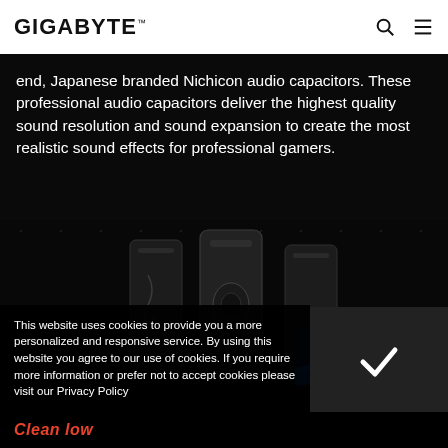GIGABYTE
end, Japanese branded Nichicon audio capacitors. These professional audio capacitors deliver the highest quality sound resolution and sound expansion to create the most realistic sound effects for professional gamers.
[Figure (photo): Dark product photo showing audio capacitors (Nichicon) arranged vertically on a dark background, with a 3D INDUSTRY banner overlay in the bottom right corner]
This website uses cookies to provide you a more personalized and responsive service. By using this website you agree to our use of cookies. If you require more information or prefer not to accept cookies please visit our Privacy Policy
Clean low